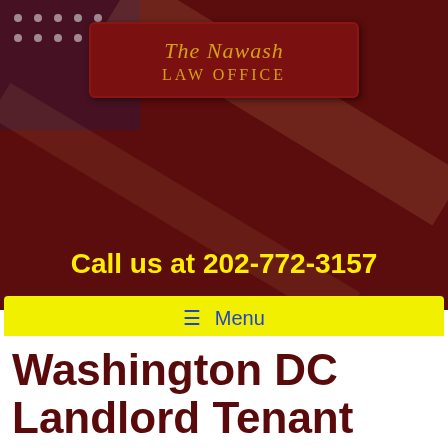[Figure (logo): The Nawash Law Office logo in a dark red rounded rectangle with gold serif text]
Call us at 202-772-3157
≡ Menu
Washington DC Landlord Tenant Law Obligations fort Landlords